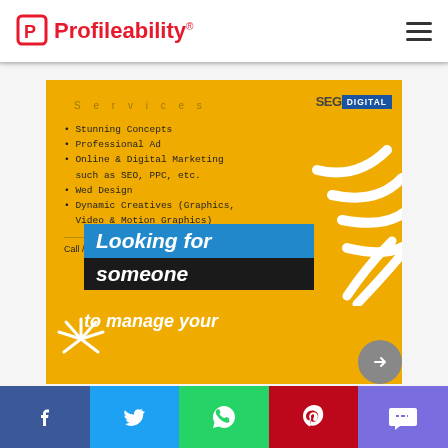[Figure (logo): Profileability logo with red stylized P icon and red text]
[Figure (infographic): Yellow promotional advertisement for SEG Digital showing services list: Stunning Concepts, Professional Ad, Online & Digital Marketing such as SEO PPC etc, Wed Design, Dynamic Creatives (Graphics Video & Motion Graphics). Contact: Call / Whatsapp: 0544784444. Looking for someone to manage your... banner at bottom.]
Social share bar: Facebook, Twitter, WhatsApp, Pinterest, SMS